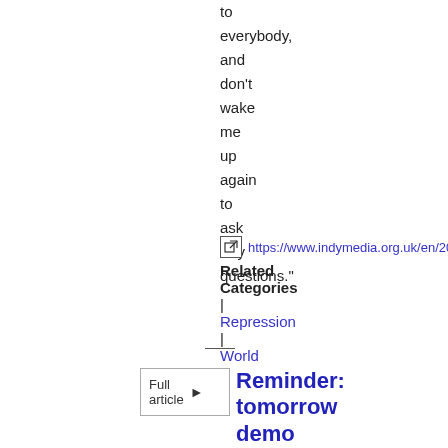to everybody, and don't wake me up again to ask silly questions."
https://www.indymedia.org.uk/en/2008/0
Related Categories
|
Repression
|
World
—
Full article
Reminder: tomorrow demo at Kalyx